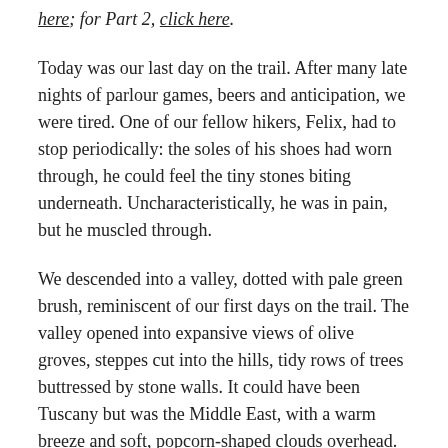here; for Part 2, click here.
Today was our last day on the trail. After many late nights of parlour games, beers and anticipation, we were tired. One of our fellow hikers, Felix, had to stop periodically: the soles of his shoes had worn through, he could feel the tiny stones biting underneath. Uncharacteristically, he was in pain, but he muscled through.
We descended into a valley, dotted with pale green brush, reminiscent of our first days on the trail. The valley opened into expansive views of olive groves, steppes cut into the hills, tidy rows of trees buttressed by stone walls. It could have been Tuscany but was the Middle East, with a warm breeze and soft, popcorn-shaped clouds overhead.
Admiring the scenery, I thought of what lay ahead, I